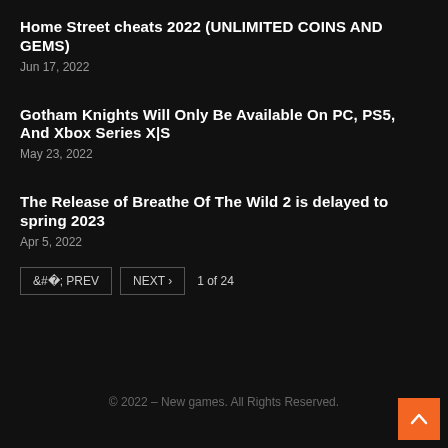Home Street cheats 2022 (UNLIMITED COINS AND GEMS)
Jun 17, 2022
Gotham Knights Will Only Be Available On PC, PS5, And Xbox Series X|S
May 23, 2022
The Release of Breathe Of The Wild 2 is delayed to spring 2023
Apr 5, 2022
< PREV   NEXT >   1 of 24
© 2022 – New games. All Rights Reserved.